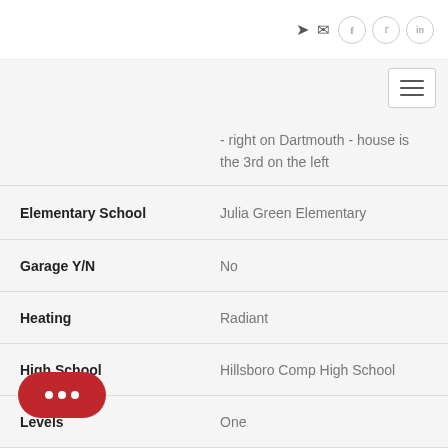Navigation bar with login, mail, Facebook, Twitter, LinkedIn icons and hamburger menu
- right on Dartmouth - house is the 3rd on the left
| Field | Value |
| --- | --- |
| Elementary School | Julia Green Elementary |
| Garage Y/N | No |
| Heating | Radiant |
| High School | Hillsboro Comp High School |
| Levels | One |
| Junior High School | John T. Moore Middle School |